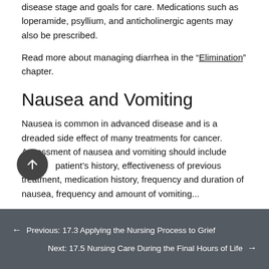disease stage and goals for care. Medications such as loperamide, psyllium, and anticholinergic agents may also be prescribed.
Read more about managing diarrhea in the "Elimination" chapter.
Nausea and Vomiting
Nausea is common in advanced disease and is a dreaded side effect of many treatments for cancer. Assessment of nausea and vomiting should include the patient's history, effectiveness of previous treatment, medication history, frequency and duration of nausea, frequency and amount of vomiting...
Previous: 17.3 Applying the Nursing Process to Grief
Next: 17.5 Nursing Care During the Final Hours of Life